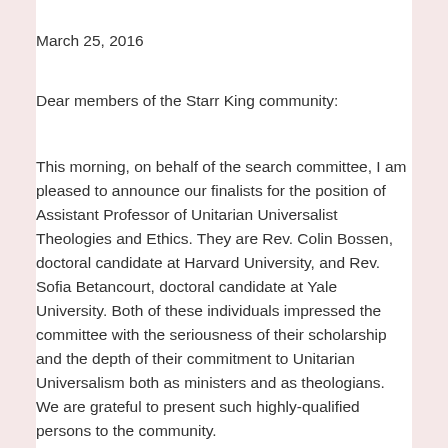March 25, 2016
Dear members of the Starr King community:
This morning, on behalf of the search committee, I am pleased to announce our finalists for the position of Assistant Professor of Unitarian Universalist Theologies and Ethics. They are Rev. Colin Bossen, doctoral candidate at Harvard University, and Rev. Sofia Betancourt, doctoral candidate at Yale University. Both of these individuals impressed the committee with the seriousness of their scholarship and the depth of their commitment to Unitarian Universalism both as ministers and as theologians. We are grateful to present such highly-qualified persons to the community.